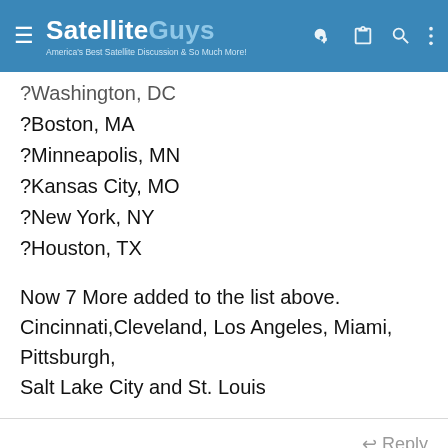SatelliteGuys — America's Best Satellite Discussion & So Much More!
?Washington, DC
?Boston, MA
?Minneapolis, MN
?Kansas City, MO
?New York, NY
?Houston, TX
Now 7 More added to the list above. Cincinnati,Cleveland, Los Angeles, Miami, Pittsburgh, Salt Lake City and St. Louis
↩ Reply
Poke
Thread Starter
Pub Member / Supporter